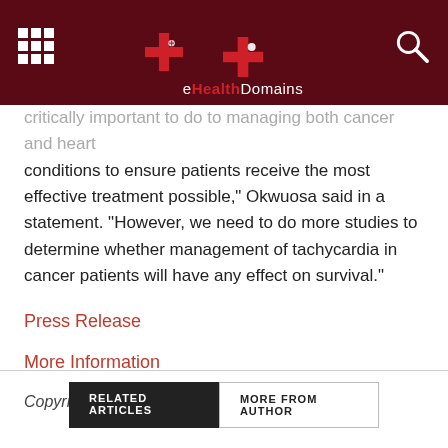eHealthDomains
critically important to do to managing both cancer and heart conditions to ensure patients receive the most effective treatment possible," Okwuosa said in a statement. "However, we need to do more studies to determine whether management of tachycardia in cancer patients will have any effect on survival."
Press Release
More Information
Copyright © 2019 HealthDay. All rights reserved.
RELATED ARTICLES   MORE FROM AUTHOR